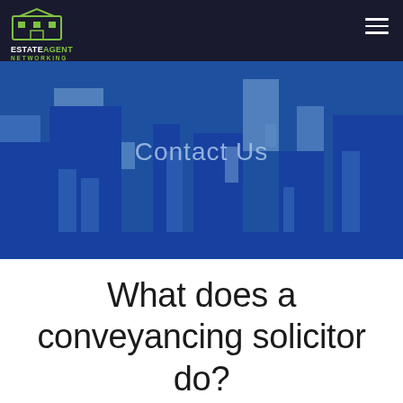ESTATE AGENT NETWORKING
[Figure (illustration): Blue cityscape/building silhouette banner with 'Contact Us' text overlay in light blue]
What does a conveyancing solicitor do?